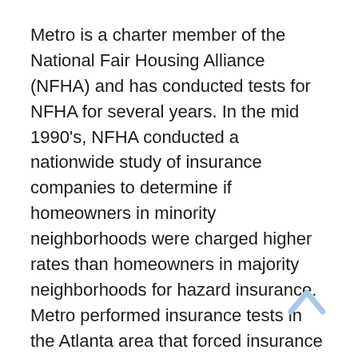Metro is a charter member of the National Fair Housing Alliance (NFHA) and has conducted tests for NFHA for several years. In the mid 1990's, NFHA conducted a nationwide study of insurance companies to determine if homeowners in minority neighborhoods were charged higher rates than homeowners in majority neighborhoods for hazard insurance. Metro performed insurance tests in the Atlanta area that forced insurance companies to change the way they offer coverage to all homeowners across the country.
In the past, housing providers had no problem saying, “I don’t rent to your kind,” but now they smile politely and say, “That unit has been rented.” Discrimination is alive and well, but it has been cocooned in cordiality. Metro’s goal is to educate and equip all individuals in the metropolitan area